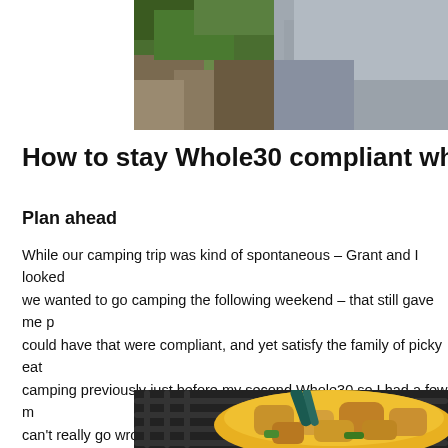[Figure (photo): Outdoor nature/camping scene photo partially cropped at top of page]
How to stay Whole30 compliant while cam
Plan ahead
While our camping trip was kind of spontaneous – Grant and I looked at each other one night and decided we wanted to go camping the following weekend – that still gave me plenty of time to think of meals we could have that were compliant, and yet satisfy the family of picky eaters. I had also just returned from camping previously just before my second Whole30 so I had a few meals in mind already. And you really can't really go wrong with meat and veggies …
[Figure (photo): Food photo showing cooked meat and vegetables in a yellow bowl on a grill grate with tongs]